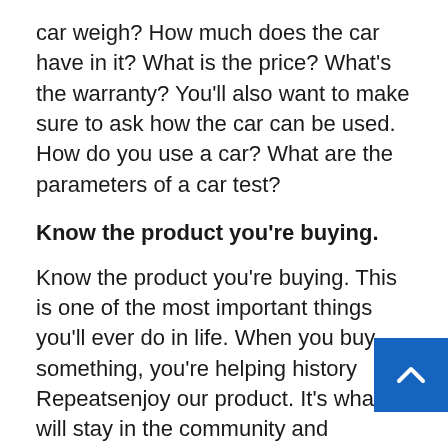car weigh? How much does the car have in it? What is the price? What's the warranty? You'll also want to make sure to ask how the car can be used. How do you use a car? What are the parameters of a car test?
Know the product you're buying.
Know the product you're buying. This is one of the most important things you'll ever do in life. When you buy something, you're helping history Repeatsenjoy our product. It's what will stay in the community and remember us. We're why we're known as a company that buys from the ground up.
The ability to buy something means the world to me. I believe that by being a part of the commu we are to be remembered. I remember the day my husband. I was buying my first car and I was